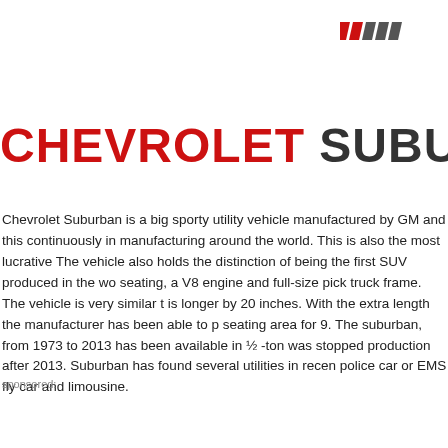[Figure (logo): Decorative stripe logo with red and dark grey diagonal bars in top right corner]
CHEVROLET SUBURBAN
Chevrolet Suburban is a big sporty utility vehicle manufactured by GM and this continuously in manufacturing around the world. This is also the most lucrative The vehicle also holds the distinction of being the first SUV produced in the wo seating, a V8 engine and full-size pick truck frame. The vehicle is very similar t is longer by 20 inches. With the extra length the manufacturer has been able to p seating area for 9. The suburban, from 1973 to 2013 has been available in ½ -to was stopped production after 2013. Suburban has found several utilities in recen police car or EMS fly car and limousine.
sponsored: